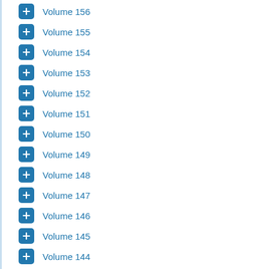Volume 156
Volume 155
Volume 154
Volume 153
Volume 152
Volume 151
Volume 150
Volume 149
Volume 148
Volume 147
Volume 146
Volume 145
Volume 144
Volume 143
Volume 142
Volume 141